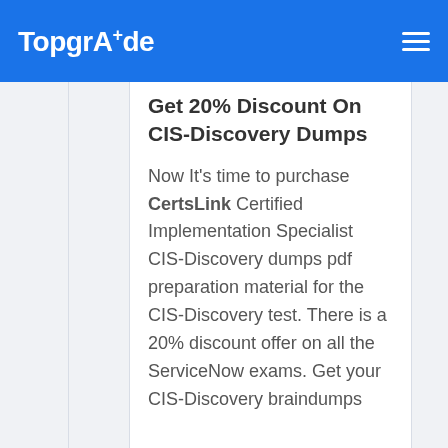TopgrAde
Get 20% Discount On CIS-Discovery Dumps
Now It's time to purchase CertsLink Certified Implementation Specialist CIS-Discovery dumps pdf preparation material for the CIS-Discovery test. There is a 20% discount offer on all the ServiceNow exams. Get your CIS-Discovery braindumps...